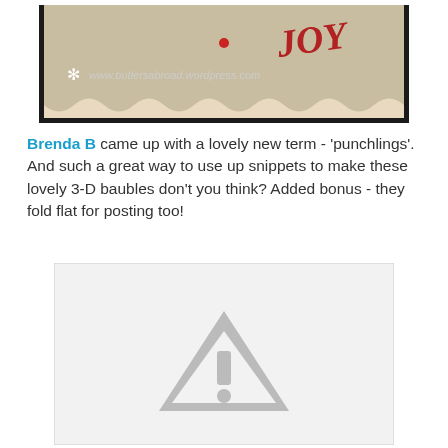[Figure (photo): Top portion of a craft/stamp card image showing scalloped edge design with text 'JOY' in red script and URL www.butlersabroad.wordpress.com with a snowflake icon, on a beige/tan background, bordered by a dark frame.]
Brenda B came up with a lovely new term - 'punchlings'. And such a great way to use up snippets to make these lovely 3-D baubles don't you think? Added bonus - they fold flat for posting too!
[Figure (photo): Bottom image placeholder with a grey warning/error triangle icon with exclamation mark, indicating a missing or broken image, on a white background with light grey border.]